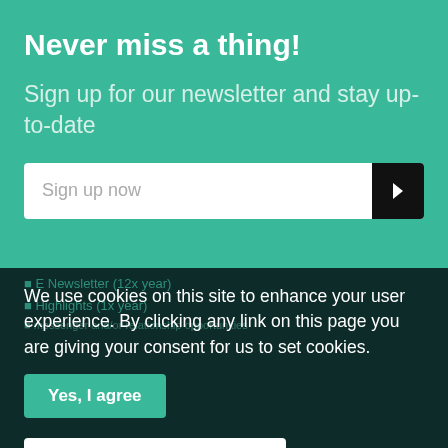Never miss a thing!
Sign up for our newsletter and stay up-to-date
Sign up now
E Newsletter (12x year)
We use cookies on this site to enhance your user experience. By clicking any link on this page you are giving your consent for us to set cookies.
Highlights (1x year)
messenger and/or relationship opportunities
Yes, I agree
No, I want to find out more